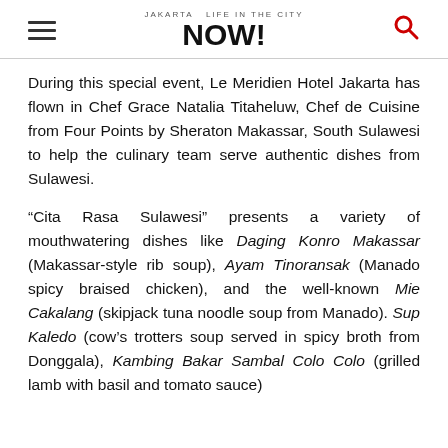Jakarta NOW! [logo with hamburger menu and search icon]
During this special event, Le Meridien Hotel Jakarta has flown in Chef Grace Natalia Titaheluw, Chef de Cuisine from Four Points by Sheraton Makassar, South Sulawesi to help the culinary team serve authentic dishes from Sulawesi.
“Cita Rasa Sulawesi” presents a variety of mouthwatering dishes like Daging Konro Makassar (Makassar-style rib soup), Ayam Tinoransak (Manado spicy braised chicken), and the well-known Mie Cakalang (skipjack tuna noodle soup from Manado). Sup Kaledo (cow’s trotters soup served in spicy broth from Donggala), Kambing Bakar Sambal Colo Colo (grilled lamb with basil and tomato sauce)